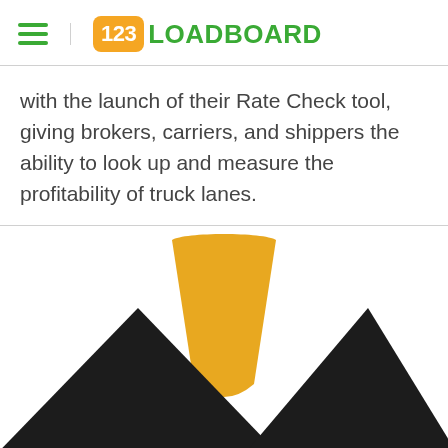123LOADBOARD
with the launch of their Rate Check tool, giving brokers, carriers, and shippers the ability to look up and measure the profitability of truck lanes.
[Figure (logo): 123Loadboard logo mark — yellow/orange downward-pointing triangle with two black upward-pointing triangles below it, partially cropped at the bottom of the page.]